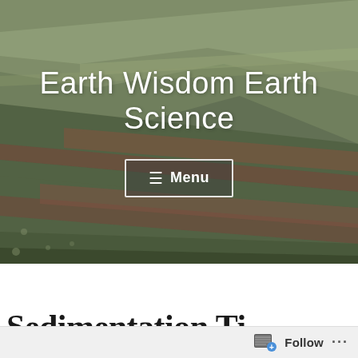[Figure (photo): Aerial or landscape photograph of green grassy hillside with diagonal erosion striations and reddish-brown exposed earth bands, serving as a hero banner background image for the Earth Wisdom Earth Science website.]
Earth Wisdom Earth Science
≡ Menu
Sedimentation Ti...
Follow